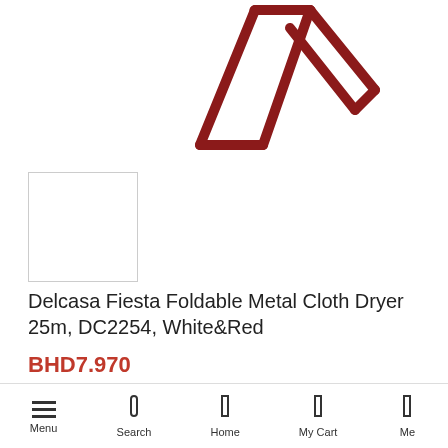[Figure (photo): Product photo of Delcasa Foldable Metal Cloth Dryer in red/white, showing the folded metal frame structure at the top of the page]
[Figure (photo): Small thumbnail image box (empty/white) below the main product image]
Delcasa Fiesta Foldable Metal Cloth Dryer 25m, DC2254, White&Red
BHD7.970
In stock
DETAILS
Brand:Delcasa
Menu  Search  Home  My Cart  Me